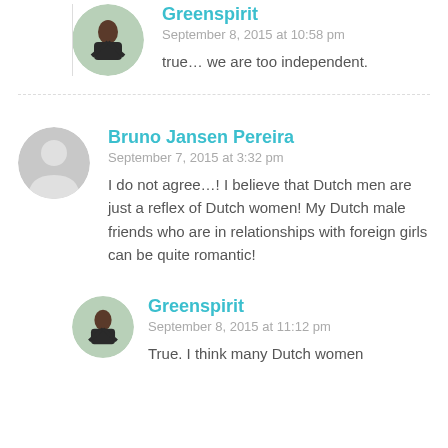Greenspirit
September 8, 2015 at 10:58 pm
true… we are too independent.
Bruno Jansen Pereira
September 7, 2015 at 3:32 pm
I do not agree…! I believe that Dutch men are just a reflex of Dutch women! My Dutch male friends who are in relationships with foreign girls can be quite romantic!
Greenspirit
September 8, 2015 at 11:12 pm
True. I think many Dutch women